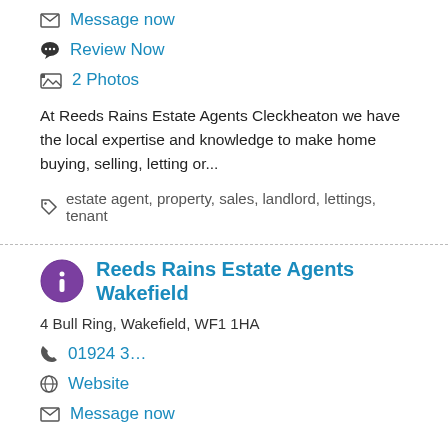Message now
Review Now
2 Photos
At Reeds Rains Estate Agents Cleckheaton we have the local expertise and knowledge to make home buying, selling, letting or...
estate agent, property, sales, landlord, lettings, tenant
Reeds Rains Estate Agents Wakefield
4 Bull Ring, Wakefield, WF1 1HA
01924 3...
Website
Message now